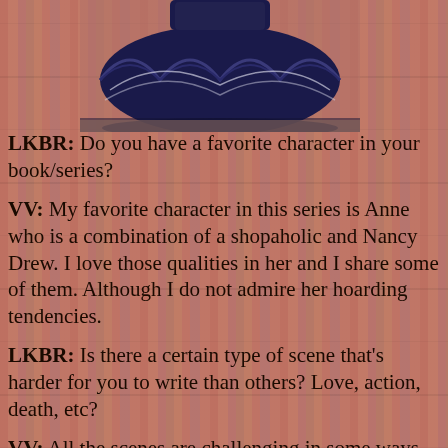[Figure (photo): Top portion of a dark navy blue pleated/ruffled dress or skirt photographed against a background of colorful bookshelves.]
LKBR: Do you have a favorite character in your book/series?
VV: My favorite character in this series is Anne who is a combination of a shopaholic and Nancy Drew. I love those qualities in her and I share some of them. Although I do not admire her hoarding tendencies.
LKBR: Is there a certain type of scene that’s harder for you to write than others? Love, action, death, etc?
VV: All the scenes are challenging in some ways but I’d say it’s probably more difficult for me to write love scenes than action scenes.